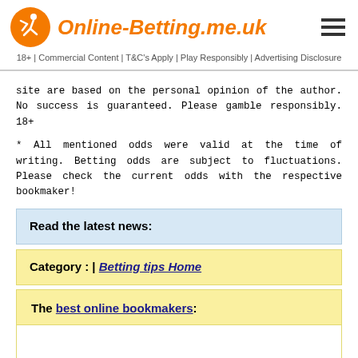Online-Betting.me.uk
18+ | Commercial Content | T&C's Apply | Play Responsibly | Advertising Disclosure
site are based on the personal opinion of the author. No success is guaranteed. Please gamble responsibly. 18+
* All mentioned odds were valid at the time of writing. Betting odds are subject to fluctuations. Please check the current odds with the respective bookmaker!
Read the latest news:
Category : | Betting tips Home
The best online bookmakers: